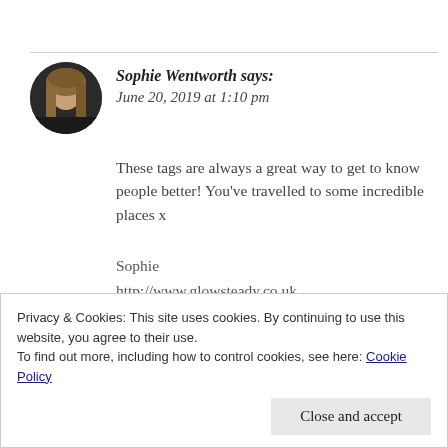Sophie Wentworth says:
June 20, 2019 at 1:10 pm
These tags are always a great way to get to know people better! You've travelled to some incredible places x
Sophie
http://www.glowsteady.co.uk
Privacy & Cookies: This site uses cookies. By continuing to use this website, you agree to their use.
To find out more, including how to control cookies, see here: Cookie Policy
Close and accept